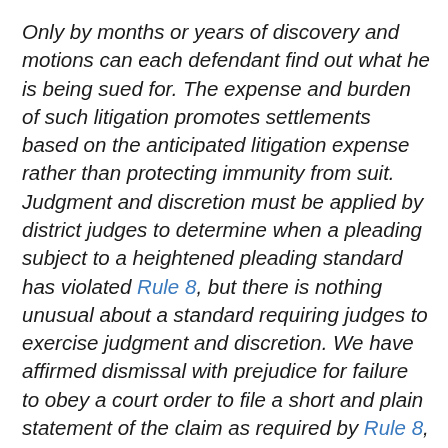Only by months or years of discovery and motions can each defendant find out what he is being sued for. The expense and burden of such litigation promotes settlements based on the anticipated litigation expense rather than protecting immunity from suit. Judgment and discretion must be applied by district judges to determine when a pleading subject to a heightened pleading standard has violated Rule 8, but there is nothing unusual about a standard requiring judges to exercise judgment and discretion. We have affirmed dismissal with prejudice for failure to obey a court order to file a short and plain statement of the claim as required by Rule 8, even where the heightened standard of pleading under Rule 9 applied. Schmidt v. Herrmann, 614 F.2d at 1223-24. In Schmidt, as in the case at bar, the very prolixity of the complaint made it difficult to determine just what circumstances were